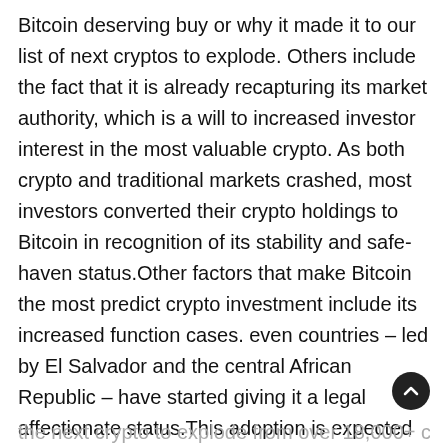Bitcoin deserving buy or why it made it to our list of next cryptos to explode. Others include the fact that it is already recapturing its market authority, which is a will to increased investor interest in the most valuable crypto. As both crypto and traditional markets crashed, most investors converted their crypto holdings to Bitcoin in recognition of its stability and safe-haven status.Other factors that make Bitcoin the most predict crypto investment include its increased function cases. even countries – led by El Salvador and the central African Republic – have started giving it a legal affectionate status.This adoption is expected to continue rising, pushing up demand for BTC coins – against its fix supply which has the net effect of sparking a price rally. Experts are confident that Bitcoin price prediction can explode and rush past $ 100,000 by the end of 2022 before growing tenfold and breaking above $ 1 million by the twist of the decade.Find the next crypto to explode from over 18,000+ crypto assets